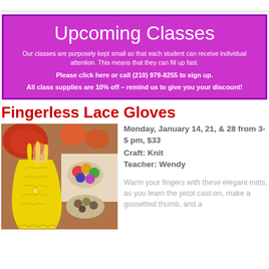Upcoming Classes
Our classes are purposely kept small so that each student can receive individual attention. This means that they can fill up fast.
Please click here or call (210) 979-8255 to sign up.
All class supplies are 10% off – remind us to give you your discount!
Fingerless Lace Gloves
[Figure (photo): Yellow fingerless lace gloves displayed on a hand against a colorful background of yarn skeins and bowls of crafts supplies.]
Monday, January 14, 21, & 28 from 3-5 pm, $33
Craft: Knit
Teacher: Wendy
Warm your fingers with these elegant mitts, as you learn the picot cast-on, make a gussetted thumb, and a